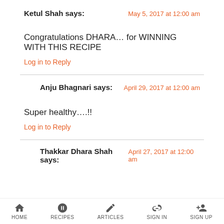Ketul Shah says:
May 5, 2017 at 12:00 am
Congratulations DHARA… for WINNING WITH THIS RECIPE
Log in to Reply
Anju Bhagnari says:
April 29, 2017 at 12:00 am
Super healthy….!!
Log in to Reply
Thakkar Dhara Shah says:
April 27, 2017 at 12:00 am
HOME  RECIPES  ARTICLES  SIGN IN  SIGN UP